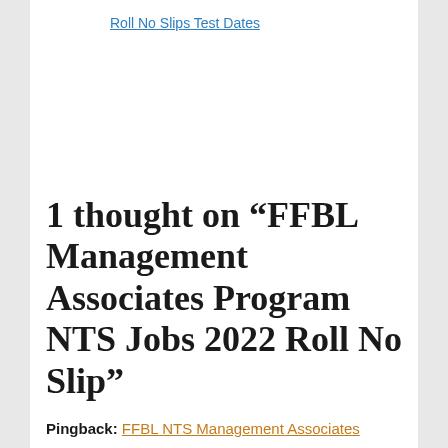Roll No Slips Test Dates
1 thought on “FFBL Management Associates Program NTS Jobs 2022 Roll No Slip”
Pingback: FFBL NTS Management Associates